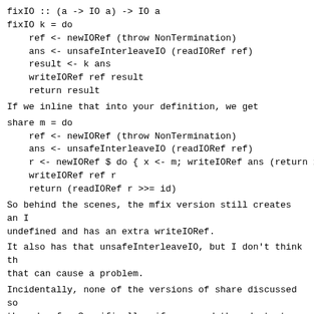fixIO :: (a -> IO a) -> IO a
fixIO k = do
    ref <- newIORef (throw NonTermination)
    ans <- unsafeInterleaveIO (readIORef ref)
    result <- k ans
    writeIORef ref result
    return result
If we inline that into your definition, we get
share m = do
    ref <- newIORef (throw NonTermination)
    ans <- unsafeInterleaveIO (readIORef ref)
    r <- newIORef $ do { x <- m; writeIORef ans (return x
    writeIORef ref r
    return (readIORef r >>= id)
So behind the scenes, the mfix version still creates an I
undefined and has an extra writeIORef.
It also has that unsafeInterleaveIO, but I don't think th
that can cause a problem.
Incidentally, none of the versions of share discussed so
thread-safe. Specifically, if a second thread starts to e
result of share m while the first thread is still evaluat
up with the effects of m happening twice. Here's a versio
this by using a semaphore.